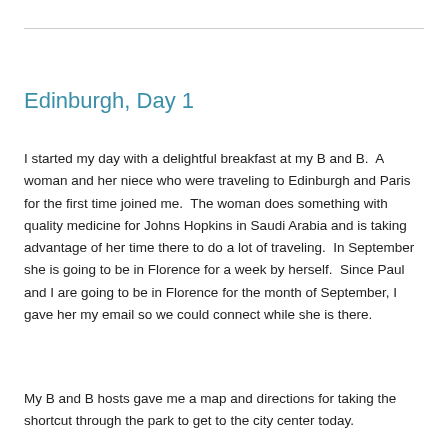Edinburgh, Day 1
I started my day with a delightful breakfast at my B and B.  A woman and her niece who were traveling to Edinburgh and Paris for the first time joined me.  The woman does something with quality medicine for Johns Hopkins in Saudi Arabia and is taking advantage of her time there to do a lot of traveling.  In September she is going to be in Florence for a week by herself.  Since Paul and I are going to be in Florence for the month of September, I gave her my email so we could connect while she is there.
My B and B hosts gave me a map and directions for taking the shortcut through the park to get to the city center today.